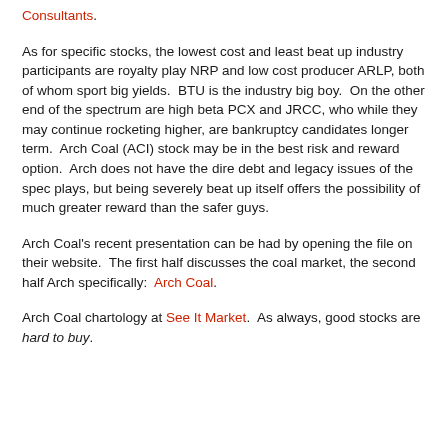Consultants.
As for specific stocks, the lowest cost and least beat up industry participants are royalty play NRP and low cost producer ARLP, both of whom sport big yields.  BTU is the industry big boy.  On the other end of the spectrum are high beta PCX and JRCC, who while they may continue rocketing higher, are bankruptcy candidates longer term.  Arch Coal (ACI) stock may be in the best risk and reward option.  Arch does not have the dire debt and legacy issues of the spec plays, but being severely beat up itself offers the possibility of much greater reward than the safer guys.
Arch Coal's recent presentation can be had by opening the file on their website.  The first half discusses the coal market, the second half Arch specifically:  Arch Coal.
Arch Coal chartology at See It Market.  As always, good stocks are hard to buy.